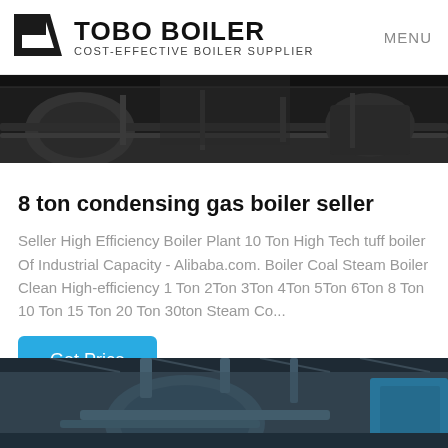TOBO BOILER COST-EFFECTIVE BOILER SUPPLIER | MENU
[Figure (photo): Interior of an industrial boiler facility showing large boiler equipment and piping in a dark industrial space]
8 ton condensing gas boiler seller
Seller High Efficiency Boiler Plant 10 Ton High Tech tuff boiler Of Industrial Capacity - Alibaba.com. Boiler Coal Steam Boiler Clean High-efficiency 1 Ton 2Ton 3Ton 4Ton 5Ton 6Ton 8 Ton 10 Ton 15 Ton 20 Ton 30ton Steam Co...
Get Price
[Figure (photo): Industrial boiler equipment in a factory setting with blue equipment visible and overhead lighting]